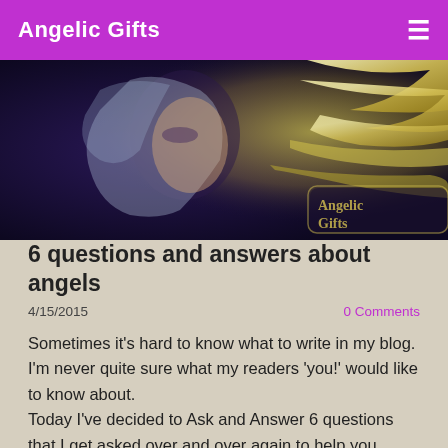Angelic Gifts
[Figure (illustration): Hero banner image showing a fantasy illustration of a blonde woman in profile against a dark background with glowing golden angel wing feathers and 'Angelic Gifts' text logo.]
6 questions and answers about angels
4/15/2015
0 Comments
Sometimes it's hard to know what to write in my blog.  I'm never quite sure what my readers 'you!' would like to know about.
Today I've decided to Ask and Answer 6 questions that I get asked over and over again to help you understand a angels a little bit more.
I sure hope you find it helpful and I look forward with delight to your responses.  If you have any further questions, please